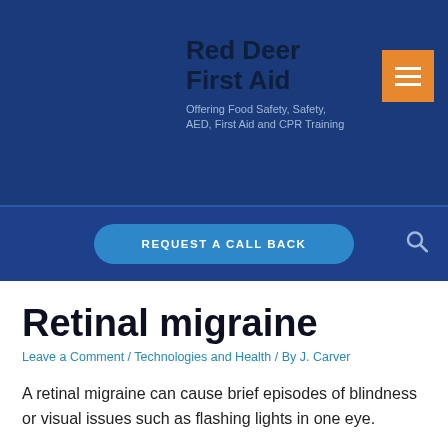Red Deer First Aid
Offering Food Safety, Safety, AED, First Aid and CPR Training
[Figure (other): Orange hamburger menu button icon]
REQUEST A CALL BACK
[Figure (other): Search icon]
Retinal migraine
Leave a Comment / Technologies and Health / By J. Carver
A retinal migraine can cause brief episodes of blindness or visual issues such as flashing lights in one eye.